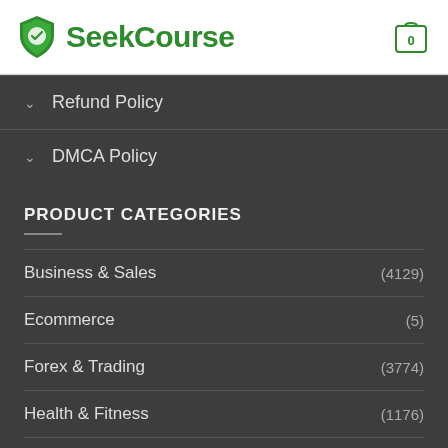[Figure (logo): SeekCourse logo with green shield icon and cart icon]
Refund Policy
DMCA Policy
PRODUCT CATEGORIES
Business & Sales (4129)
Ecommerce (5)
Forex & Trading (3774)
Health & Fitness (1176)
Internet Marketing (31)